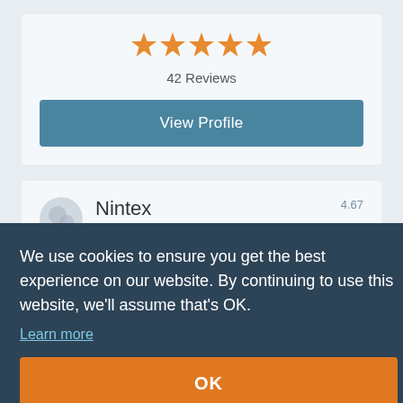[Figure (other): Five orange star rating icons]
42 Reviews
View Profile
Nintex
Data Entry Software
0 Reviews
View Profile
We use cookies to ensure you get the best experience on our website. By continuing to use this website, we'll assume that's OK.
Learn more
OK